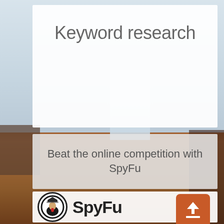[Figure (photo): Background photo of a desk with laptop and wooden table surface, blurred]
Keyword research
Beat the online competition with SpyFu
[Figure (logo): SpyFu logo: circular spy character icon next to bold SpyFu text, with an orange upload/share badge icon overlaid]